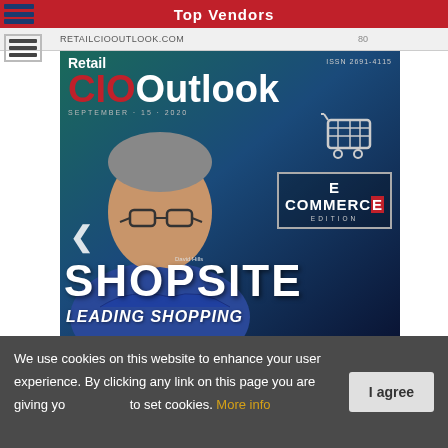Top Vendors
RETAILCIOOUTLOOK.COM
[Figure (photo): Retail CIO Outlook magazine cover, September 15 2020, E Commerce Edition, featuring SHOPSITE - Leading Shopping. Cover shows a man with glasses and crossed arms wearing a blue shirt, against a teal/dark blue gradient background. ISSN 2691-4115.]
We use cookies on this website to enhance your user experience. By clicking any link on this page you are giving your consent to set cookies. More info
I agree